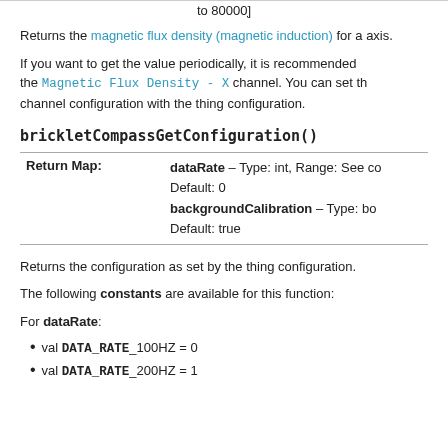to 80000]
Returns the magnetic flux density (magnetic induction) for a axis.
If you want to get the value periodically, it is recommended the Magnetic Flux Density - X channel. You can set th channel configuration with the thing configuration.
brickletCompassGetConfiguration()
| Return Map: |  |
| --- | --- |
|  | dataRate – Type: int, Range: See co Default: 0 backgroundCalibration – Type: bo Default: true |
Returns the configuration as set by the thing configuration.
The following constants are available for this function:
For dataRate:
val DATA_RATE_100HZ = 0
val DATA_RATE_200HZ = 1